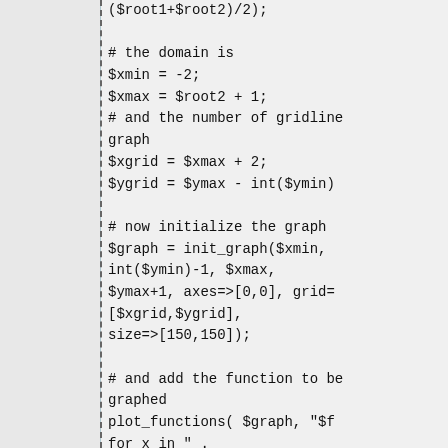($root1+$root2)/2);

# the domain is
$xmin = -2;
$xmax = $root2 + 1;
# and the number of gridlines for the graph
$xgrid = $xmax + 2;
$ygrid = $ymax - int($ymin)

# now initialize the graph
$graph = init_graph($xmin,
int($ymin)-1, $xmax,
$ymax+1, axes=>[0,0], grid=>
[$xgrid,$ygrid],
size=>[150,150]);

# and add the function to be graphed
plot_functions( $graph, "$fo
for x in " .
"<$xmin,$xmax> using color:b